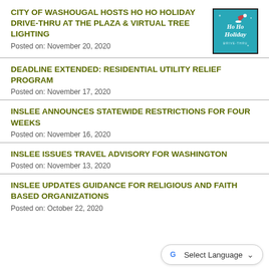CITY OF WASHOUGAL HOSTS HO HO HOLIDAY DRIVE-THRU AT THE PLAZA & VIRTUAL TREE LIGHTING
Posted on: November 20, 2020
[Figure (illustration): Ho Ho Holiday event logo on teal background with festive text and Santa hat]
DEADLINE EXTENDED: RESIDENTIAL UTILITY RELIEF PROGRAM
Posted on: November 17, 2020
INSLEE ANNOUNCES STATEWIDE RESTRICTIONS FOR FOUR WEEKS
Posted on: November 16, 2020
INSLEE ISSUES TRAVEL ADVISORY FOR WASHINGTON
Posted on: November 13, 2020
INSLEE UPDATES GUIDANCE FOR RELIGIOUS AND FAITH BASED ORGANIZATIONS
Posted on: October 22, 2020